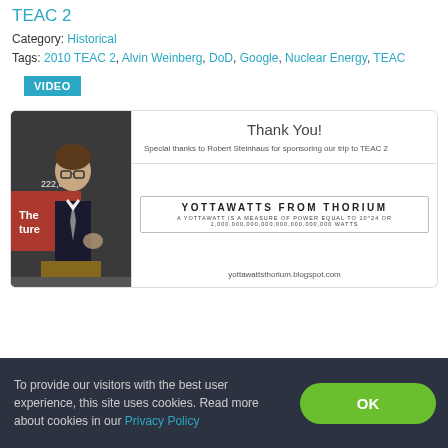TEAC 2
Category: Historical
Tags: 2010 TEAC 2, Alvin Weinberg, DoD, Google, Nuclear Energy, TEAC
VIDEO
[Figure (photo): Screenshot of a webpage showing a video thumbnail. Left side: a man in a suit speaking at a podium with 'The future' text visible and number 222,038. Right side: a presentation slide reading 'Thank You! Special thanks to Robert Steinhaus for sponsoring our trip to TEAC 2', and below a box reading 'YOTTAWATTS FROM THORIUM' with blog URL yottawattsthorium.blogspot.com]
To provide our visitors with the best user experience, this site uses cookies. Read more about cookies in our Privacy Policy
OK